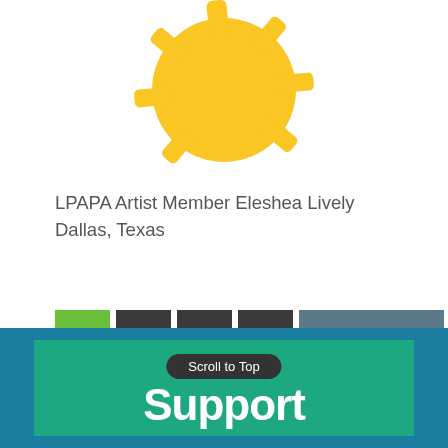[Figure (illustration): Partial yellow cartoon sun illustration at the top of the page, showing the upper half with rays]
LPAPA Artist Member Eleshea Lively
Dallas, Texas
[Figure (infographic): Pagination bar with buttons: 1 (green/active), 2, 3, 4 (dark gray), and Next Page >> (dark teal)]
[Figure (screenshot): Footer area: dark teal background with green inner rectangle, 'Scroll to Top' button pill, and partial large white bold text at bottom]